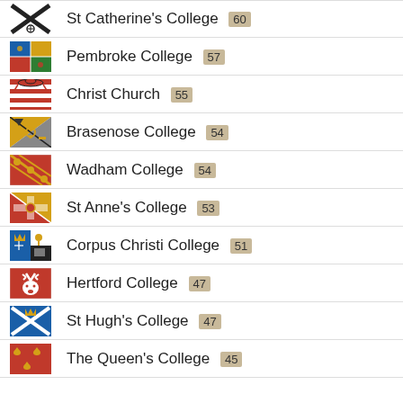St Catherine's College 60
Pembroke College 57
Christ Church 55
Brasenose College 54
Wadham College 54
St Anne's College 53
Corpus Christi College 51
Hertford College 47
St Hugh's College 47
The Queen's College 45